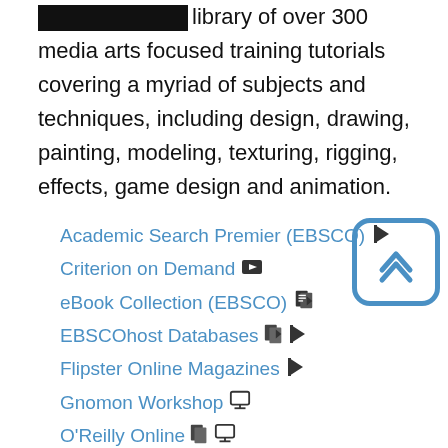library of over 300 media arts focused training tutorials covering a myriad of subjects and techniques, including design, drawing, painting, modeling, texturing, rigging, effects, game design and animation.
Academic Search Premier (EBSCO)
Criterion on Demand
eBook Collection (EBSCO)
EBSCOhost Databases
Flipster Online Magazines
Gnomon Workshop
O'Reilly Online
Omnifile Full Text Mega (EBSCO)
Storyblocks